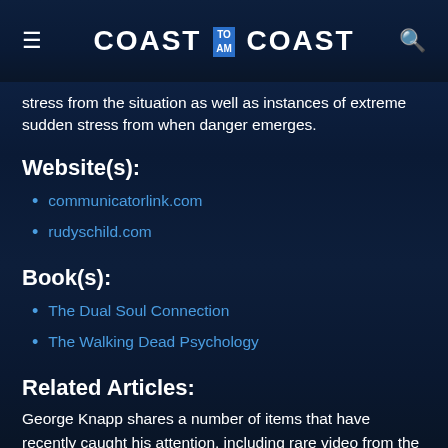COAST TO AM COAST
stress from the situation as well as instances of extreme sudden stress from when danger emerges.
Website(s):
communicatorlink.com
rudyschild.com
Book(s):
The Dual Soul Connection
The Walking Dead Psychology
Related Articles:
George Knapp shares a number of items that have recently caught his attention, including rare video from the early development of the U2 spy plane and articles on Elon